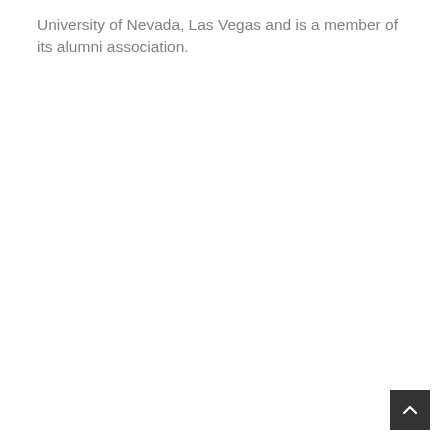University of Nevada, Las Vegas and is a member of its alumni association.
[Figure (other): Dark gray square button with a white upward-pointing chevron arrow, positioned in the bottom-right corner of the page (scroll-to-top button).]